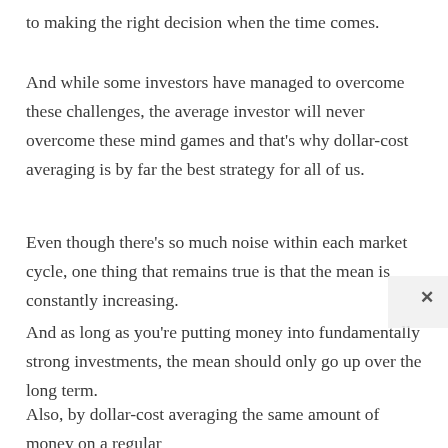to making the right decision when the time comes.
And while some investors have managed to overcome these challenges, the average investor will never overcome these mind games and that's why dollar-cost averaging is by far the best strategy for all of us.
Even though there's so much noise within each market cycle, one thing that remains true is that the mean is constantly increasing.
And as long as you're putting money into fundamentally strong investments, the mean should only go up over the long term.
Also, by dollar-cost averaging the same amount of money on a regular basis, and by…